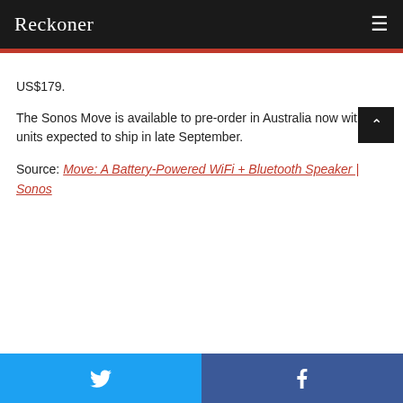Reckoner
US$179.
The Sonos Move is available to pre-order in Australia now with units expected to ship in late September.
Source: Move: A Battery-Powered WiFi + Bluetooth Speaker | Sonos
Twitter | Facebook